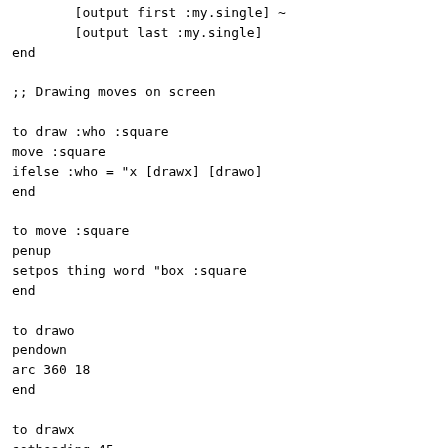[output first :my.single] ~
        [output last :my.single]
end

;; Drawing moves on screen

to draw :who :square
move :square
ifelse :who = "x [drawx] [drawo]
end

to move :square
penup
setpos thing word "box :square
end

to drawo
pendown
arc 360 18
end

to drawx
setheading 45
pendown
repeat 4 [forward 25.5 back 25.5 right 90]
end

make "box1 [-40 50]
make "box2 [0 50]
make "box3 [40 50]